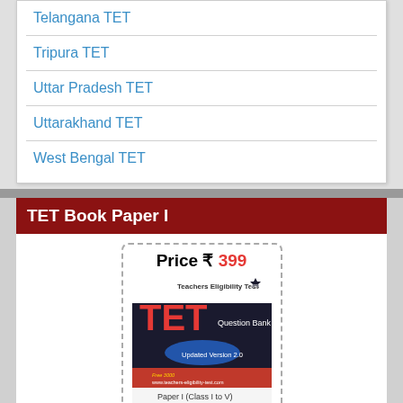Telangana TET
Tripura TET
Uttar Pradesh TET
Uttarakhand TET
West Bengal TET
TET Book Paper I
[Figure (photo): TET Question Bank book cover with price tag of Rs 399. Book shows 'Teachers Eligibility Test TET Question Bank, Updated Version 2.0, Paper I (Class I to V)' with subjects listed.]
Price ₹ 399